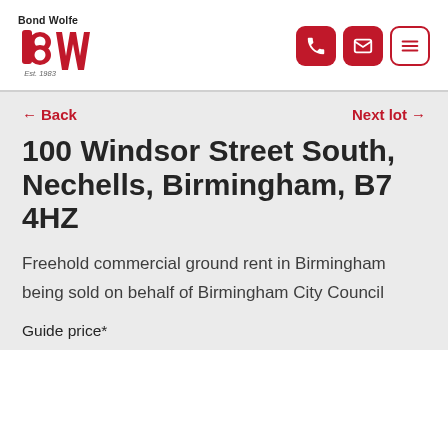[Figure (logo): Bond Wolfe logo — red 'bw' lettering with text 'Bond Wolfe' above and 'Est. 1983' below]
[Figure (infographic): Three icon buttons: phone (red filled), email/envelope (red filled), hamburger menu (red outline)]
← Back
Next lot →
100 Windsor Street South, Nechells, Birmingham, B7 4HZ
Freehold commercial ground rent in Birmingham being sold on behalf of Birmingham City Council
Guide price*